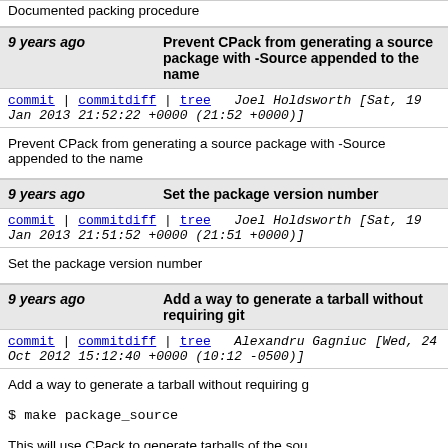Documented packing procedure
9 years ago   Prevent CPack from generating a source package with -Source appended to the name
commit | commitdiff | tree   Joel Holdsworth [Sat, 19 Jan 2013 21:52:22 +0000 (21:52 +0000)]
Prevent CPack from generating a source package with -Source appended to the name
9 years ago   Set the package version number
commit | commitdiff | tree   Joel Holdsworth [Sat, 19 Jan 2013 21:51:52 +0000 (21:51 +0000)]
Set the package version number
9 years ago   Add a way to generate a tarball without requiring git
commit | commitdiff | tree   Alexandru Gagniuc [Wed, 24 Oct 2012 15:12:40 +0000 (10:12 -0500)]
Add a way to generate a tarball without requiring g
$ make package_source
This will use CPack to generate tarballs of the sou